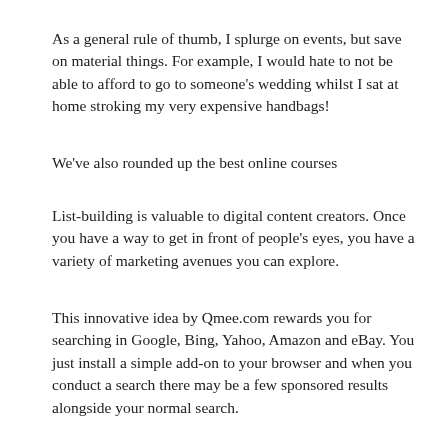As a general rule of thumb, I splurge on events, but save on material things. For example, I would hate to not be able to afford to go to someone's wedding whilst I sat at home stroking my very expensive handbags!
We've also rounded up the best online courses
List-building is valuable to digital content creators. Once you have a way to get in front of people's eyes, you have a variety of marketing avenues you can explore.
This innovative idea by Qmee.com rewards you for searching in Google, Bing, Yahoo, Amazon and eBay. You just install a simple add-on to your browser and when you conduct a search there may be a few sponsored results alongside your normal search.